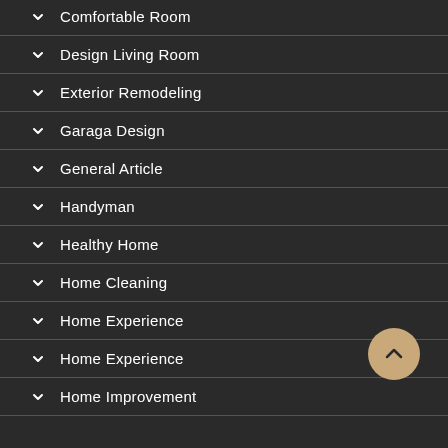Comfortable Room
Design Living Room
Exterior Remodeling
Garaga Design
General Article
Handyman
Healthy Home
Home Cleaning
Home Experience
Home Experience
Home Improvement
[Figure (illustration): Scroll-to-top button: circular tan/beige button with upward chevron arrow]